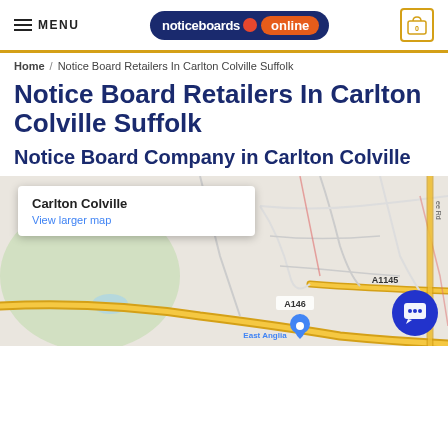MENU | noticeboards online | 0
Home / Notice Board Retailers In Carlton Colville Suffolk
Notice Board Retailers In Carlton Colville Suffolk
Notice Board Company in Carlton Colville
[Figure (map): Google Maps showing Carlton Colville area with roads A146 and A1145, East Anglia Transport Museum marker, and a popup label reading 'Carlton Colville' with 'View larger map' link]